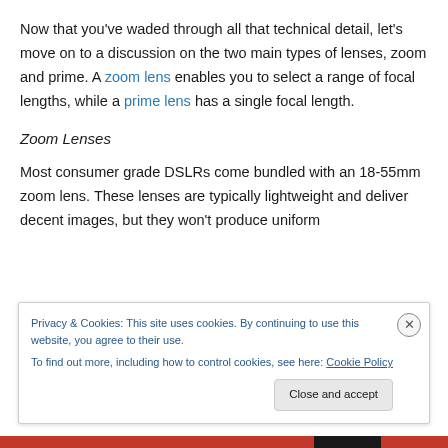Now that you've waded through all that technical detail, let's move on to a discussion on the two main types of lenses, zoom and prime. A zoom lens enables you to select a range of focal lengths, while a prime lens has a single focal length.
Zoom Lenses
Most consumer grade DSLRs come bundled with an 18-55mm zoom lens. These lenses are typically lightweight and deliver decent images, but they won't produce uniform
Privacy & Cookies: This site uses cookies. By continuing to use this website, you agree to their use.
To find out more, including how to control cookies, see here: Cookie Policy